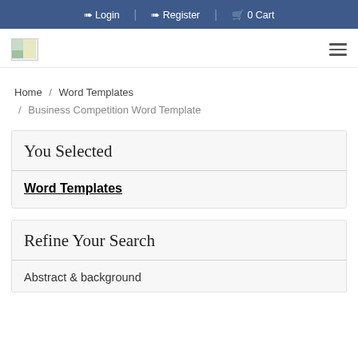Login | Register | 0 Cart
[Figure (logo): Small logo image placeholder in top left of navigation bar]
Home / Word Templates / Business Competition Word Template
You Selected
Word Templates
Refine Your Search
Abstract & background